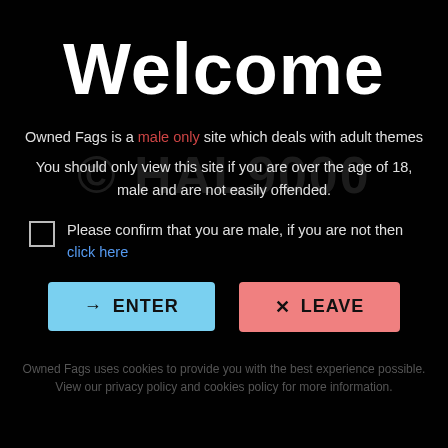Welcome
Owned Fags is a male only site which deals with adult themes
You should only view this site if you are over the age of 18, male and are not easily offended.
Please confirm that you are male, if you are not then click here
→ ENTER
✕ LEAVE
Owned Fags uses cookies to provide you with the best experience possible. View our privacy policy and cookies policy for more information.